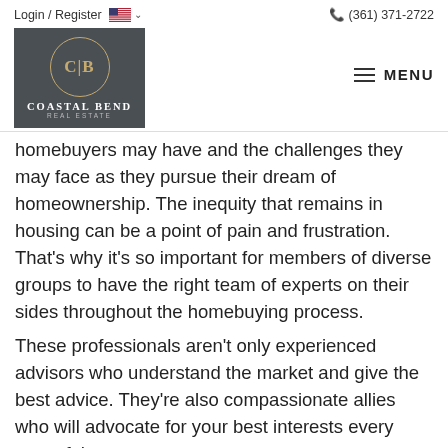Login / Register  (361) 371-2722  MENU  Coastal Bend Real Estate
homebuyers may have and the challenges they may face as they pursue their dream of homeownership. The inequity that remains in housing can be a point of pain and frustration. That's why it's so important for members of diverse groups to have the right team of experts on their sides throughout the homebuying process.
These professionals aren't only experienced advisors who understand the market and give the best advice. They're also compassionate allies who will advocate for your best interests every step of the way.